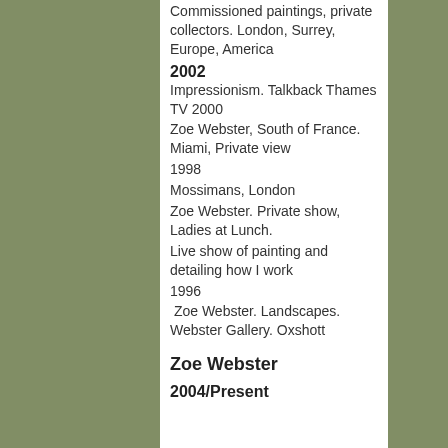Commissioned paintings, private collectors. London, Surrey, Europe, America
2002
Impressionism. Talkback Thames TV 2000
Zoe Webster, South of France. Miami, Private view
1998
Mossimans, London
Zoe Webster. Private show, Ladies at Lunch.
Live show of painting and detailing how I work
1996
Zoe Webster. Landscapes. Webster Gallery. Oxshott
Zoe Webster
2004/Present